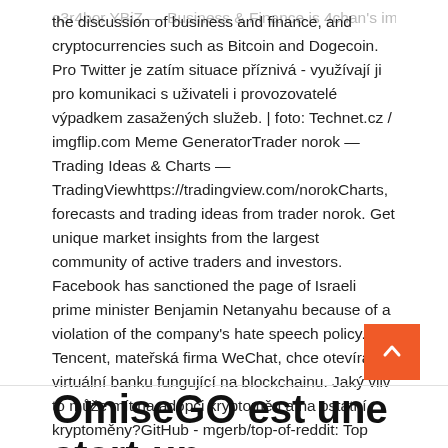o3r4bor YBiZ — Business & Finance is 4chan's imageboard for the discussion of business and finance, and cryptocurrencies such as Bitcoin and Dogecoin. Pro Twitter je zatím situace příznivá - využívají ji pro komunikaci s uživateli i provozovatelé výpadkem zasažených služeb. | foto: Technet.cz / imgflip.com Meme GeneratorTrader norok — Trading Ideas & Charts — TradingViewhttps://tradingview.com/norokCharts, forecasts and trading ideas from trader norok. Get unique market insights from the largest community of active traders and investors. Facebook has sanctioned the page of Israeli prime minister Benjamin Netanyahu because of a violation of the company's hate speech policy. Tencent, mateřská firma WeChat, chce otevírat virtuální banku fungující na blockchainu. Jaký vliv to může mít na adopci kryptoměn a na ostatní kryptoměny?GitHub - mgerb/top-of-reddit: Top Reddit posts every day.https://github.com/mgerb/top-of-redditTop Reddit posts every day. Contribute to mgerb/top-of-reddit development by creating an account on GitHub.
OmiseGO est une start-up